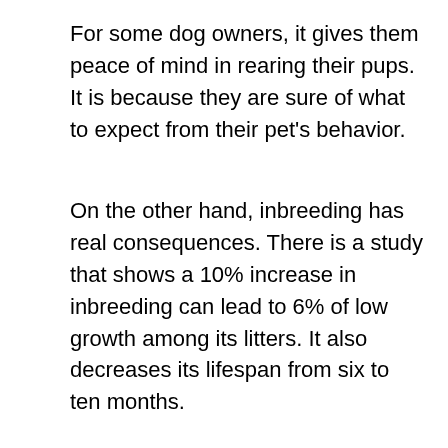For some dog owners, it gives them peace of mind in rearing their pups. It is because they are sure of what to expect from their pet's behavior.
On the other hand, inbreeding has real consequences. There is a study that shows a 10% increase in inbreeding can lead to 6% of low growth among its litters. It also decreases its lifespan from six to ten months.
[Figure (other): CVS Pharmacy advertisement showing in-store shopping, drive-through, and delivery options with checkmarks and a blue navigation arrow icon.]